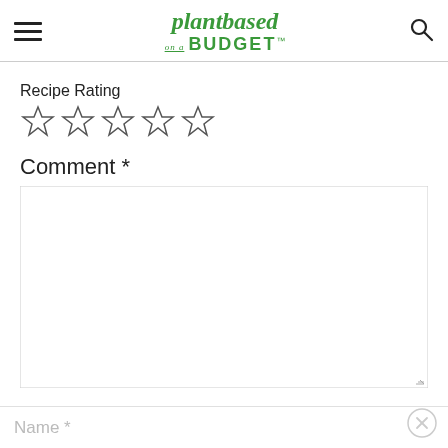plantbased on a BUDGET
Recipe Rating
[Figure (other): Five empty star rating icons]
Comment *
[Figure (other): Empty comment text area input box]
Name *